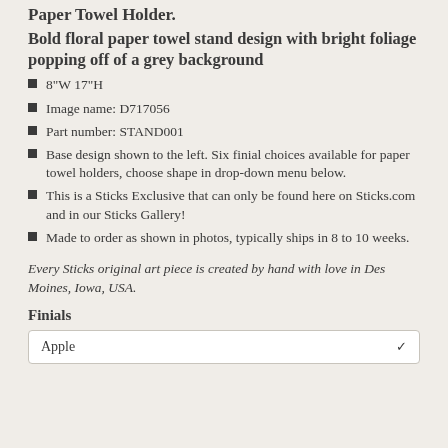Paper Towel Holder. Bold floral paper towel stand design with bright foliage popping off of a grey background
8"W 17"H
Image name: D717056
Part number: STAND001
Base design shown to the left. Six finial choices available for paper towel holders, choose shape in drop-down menu below.
This is a Sticks Exclusive that can only be found here on Sticks.com and in our Sticks Gallery!
Made to order as shown in photos, typically ships in 8 to 10 weeks.
Every Sticks original art piece is created by hand with love in Des Moines, Iowa, USA.
Finials
Apple